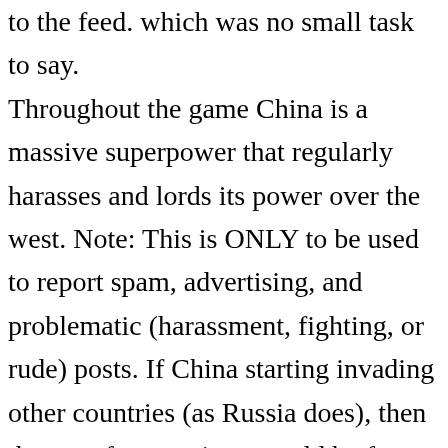to the feed. which was no small task to say. Throughout the game China is a massive superpower that regularly harasses and lords its power over the west. Note: This is ONLY to be used to report spam, advertising, and problematic (harassment, fighting, or rude) posts. If China starting invading other countries (as Russia does), then the case for sanctions would be far stronger. If you are considering to invade China then don't, it does not worth it. Hi all, With my mighty Han (Chinese) Empire (Imperial Governement) ruling